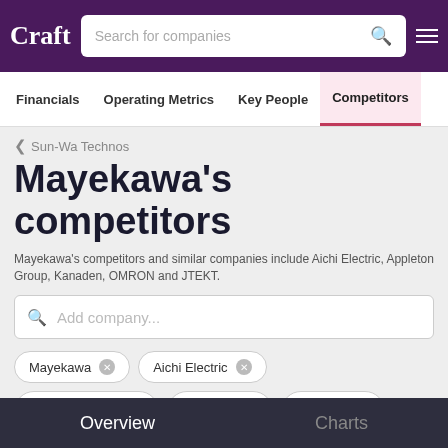Craft — Search for companies
Financials | Operating Metrics | Key People | Competitors
< Sun-Wa Technos
Mayekawa's competitors
Mayekawa's competitors and similar companies include Aichi Electric, Appleton Group, Kanaden, OMRON and JTEKT.
Add company...
Mayekawa
Aichi Electric
Appleton Group
Kanaden
OMRON
Overview | Charts